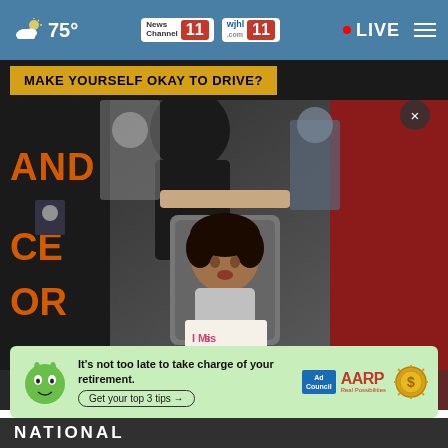75° News Channel 11 wjhl 11 • LIVE
MAKE YOURSELF OKAY TO DRIVE?
[Figure (photo): A young child sitting in a stroller at a protest, holding a handmade sign that reads 'I Miss My Daddy'. Adults are visible around her, and a protest banner with orange text is visible on the left.]
×
[Figure (infographic): AARP advertisement banner: green mascot face on left, headline 'It's not too late to take charge of your retirement.' with button 'Get your top 3 tips →', Ad Council logo, AARP logo, and a gold coin graphic on right.]
NATIONAL